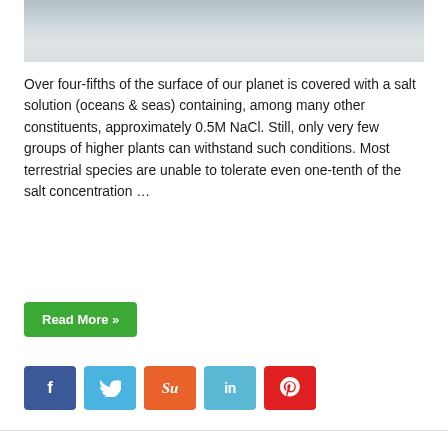[Figure (photo): Partial view of a white salt mound or snowy surface, cropped at top of page]
Over four-fifths of the surface of our planet is covered with a salt solution (oceans & seas) containing, among many other constituents, approximately 0.5M NaCl. Still, only very few groups of higher plants can withstand such conditions. Most terrestrial species are unable to tolerate even one-tenth of the salt concentration …
Read More »
[Figure (infographic): Social media sharing buttons: Facebook (blue), Twitter (light blue), StumbleUpon (orange), LinkedIn (light blue), Pinterest (red)]